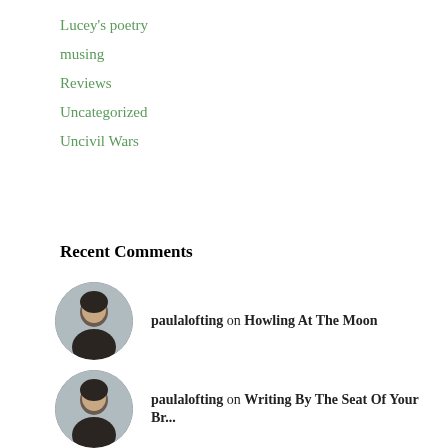Lucey's poetry
musing
Reviews
Uncategorized
Uncivil Wars
Recent Comments
paulalofting on Howling At The Moon
paulalofting on Writing By The Seat Of Your Br...
thankful1665 on Writing By The Seat Of Your Br...
paulalofting on Writing By The Seat Of Your Br...